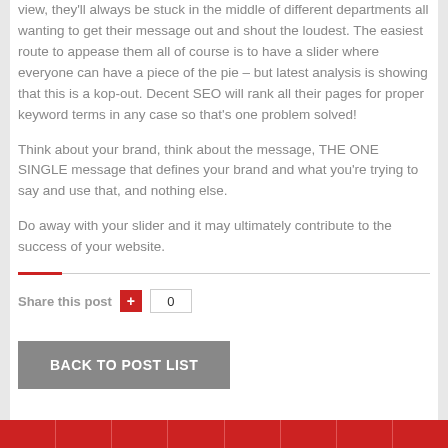view, they'll always be stuck in the middle of different departments all wanting to get their message out and shout the loudest. The easiest route to appease them all of course is to have a slider where everyone can have a piece of the pie – but latest analysis is showing that this is a kop-out. Decent SEO will rank all their pages for proper keyword terms in any case so that's one problem solved!
Think about your brand, think about the message, THE ONE SINGLE message that defines your brand and what you're trying to say and use that, and nothing else.
Do away with your slider and it may ultimately contribute to the success of your website.
Share this post  0
BACK TO POST LIST